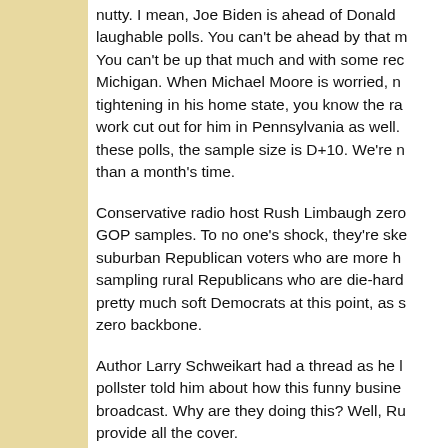nutty. I mean, Joe Biden is ahead of Donald laughable polls. You can't be ahead by that m You can't be up that much and with some rec Michigan. When Michael Moore is worried, n tightening in his home state, you know the ra work cut out for him in Pennsylvania as well. these polls, the sample size is D+10. We're n than a month's time.
Conservative radio host Rush Limbaugh zero GOP samples. To no one's shock, they're ske suburban Republican voters who are more h sampling rural Republicans who are die-hard pretty much soft Democrats at this point, as s zero backbone.
Author Larry Schweikart had a thread as he l pollster told him about how this funny busine broadcast. Why are they doing this? Well, Ru provide all the cover.